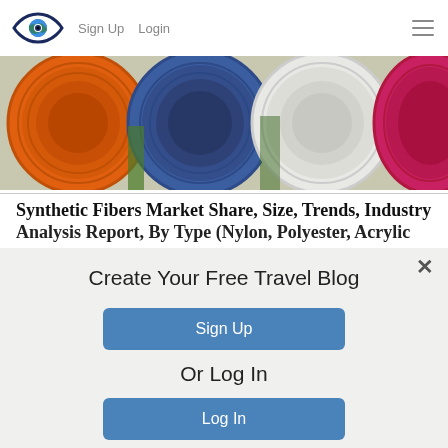Sign Up  Login
[Figure (photo): Photo of colorful rolls of synthetic fabric in orange, blue, white, and pink/red colors stacked horizontally.]
Synthetic Fibers Market Share, Size, Trends, Industry Analysis Report, By Type (Nylon, Polyester, Acrylic...
Create Your Free Travel Blog
Sign Up
Or Log In
Log In